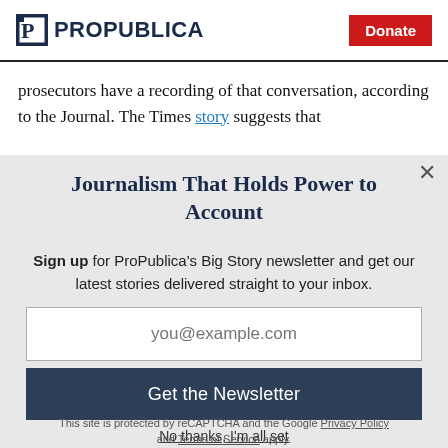ProPublica | Donate
prosecutors have a recording of that conversation, according to the Journal. The Times story suggests that
Journalism That Holds Power to Account
Sign up for ProPublica's Big Story newsletter and get our latest stories delivered straight to your inbox.
you@example.com
Get the Newsletter
No thanks, I'm all set
This site is protected by reCAPTCHA and the Google Privacy Policy and Terms of Service apply.